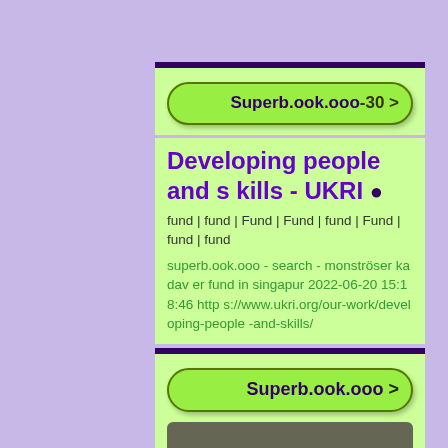Superb.ook.ooo-30 >
Developing people and skills - UKRI ●
fund | fund | Fund | Fund | fund | Fund | fund | fund
superb.ook.ooo - search - monströser kadaver fund in singapur 2022-06-20 15:18:46 https://www.ukri.org/our-work/developing-people-and-skills/
Superb.ook.ooo >